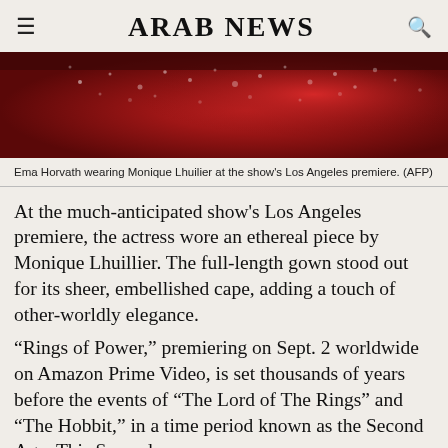ARAB NEWS
[Figure (photo): Close-up of a deep red fabric or liquid with small white bubble/sparkle details, cropped portion of a fashion photo from the Rings of Power LA premiere.]
Ema Horvath wearing Monique Lhuilier at the show's Los Angeles premiere. (AFP)
At the much-anticipated show's Los Angeles premiere, the actress wore an ethereal piece by Monique Lhuillier. The full-length gown stood out for its sheer, embellished cape, adding a touch of other-worldly elegance.
“Rings of Power,” premiering on Sept. 2 worldwide on Amazon Prime Video, is set thousands of years before the events of “The Lord of The Rings” and “The Hobbit,” in a time period known as the Second Age. This Second